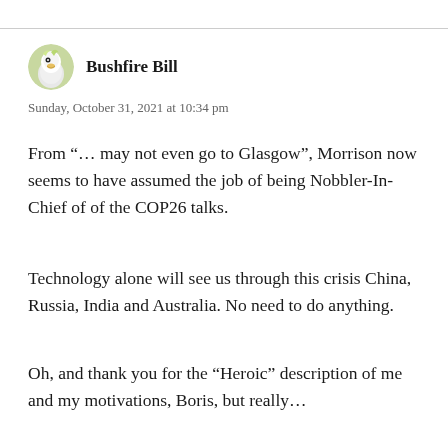[Figure (illustration): Circular avatar image of a cockatoo bird (white parrot) on a colorful background, used as a profile picture for Bushfire Bill]
Bushfire Bill
Sunday, October 31, 2021 at 10:34 pm
From “… may not even go to Glasgow”, Morrison now seems to have assumed the job of being Nobbler-In-Chief of of the COP26 talks.
Technology alone will see us through this crisis China, Russia, India and Australia. No need to do anything.
Oh, and thank you for the “Heroic” description of me and my motivations, Boris, but really…